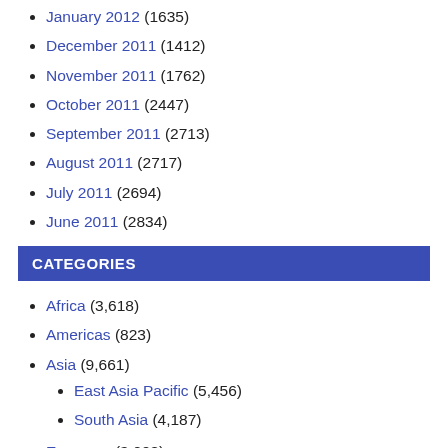January 2012 (1635)
December 2011 (1412)
November 2011 (1762)
October 2011 (2447)
September 2011 (2713)
August 2011 (2717)
July 2011 (2694)
June 2011 (2834)
CATEGORIES
Africa (3,618)
Americas (823)
Asia (9,661)
East Asia Pacific (5,456)
South Asia (4,187)
Economy (3,008)
Europe (4,305)
Latin America (11)
Middle East (5,907)
Science (48)